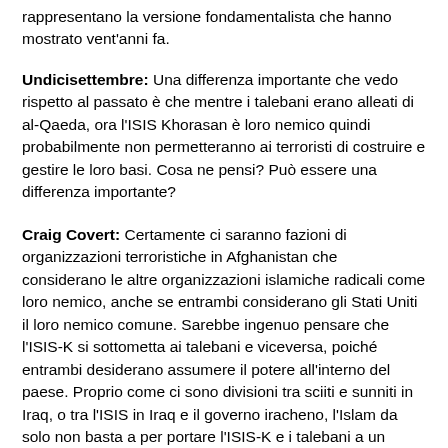rappresentano la versione fondamentalista che hanno mostrato vent'anni fa.
Undicisettembre: Una differenza importante che vedo rispetto al passato è che mentre i talebani erano alleati di al-Qaeda, ora l'ISIS Khorasan è loro nemico quindi probabilmente non permetteranno ai terroristi di costruire e gestire le loro basi. Cosa ne pensi? Può essere una differenza importante?
Craig Covert: Certamente ci saranno fazioni di organizzazioni terroristiche in Afghanistan che considerano le altre organizzazioni islamiche radicali come loro nemico, anche se entrambi considerano gli Stati Uniti il loro nemico comune. Sarebbe ingenuo pensare che l'ISIS-K si sottometta ai talebani e viceversa, poiché entrambi desiderano assumere il potere all'interno del paese. Proprio come ci sono divisioni tra sciiti e sunniti in Iraq, o tra l'ISIS in Iraq e il governo iracheno, l'Islam da solo non basta a per portare l'ISIS-K e i talebani a un accordo. Credo che gli Stati Uniti e i suoi alleati continueranno a prendere di mira segretamente elementi dell'ISIS-K nel prossimo futuro se